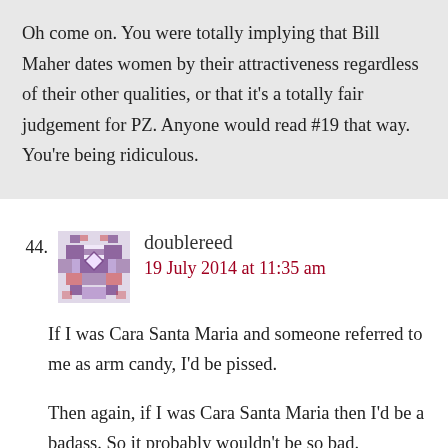Oh come on. You were totally implying that Bill Maher dates women by their attractiveness regardless of their other qualities, or that it's a totally fair judgement for PZ. Anyone would read #19 that way. You're being ridiculous.
44. doublereed
19 July 2014 at 11:35 am
If I was Cara Santa Maria and someone referred to me as arm candy, I'd be pissed.
Then again, if I was Cara Santa Maria then I'd be a badass. So it probably wouldn't be so bad.
45. Giliell, professional cynic -Ilk-
19 July 2014 at 11:43 am